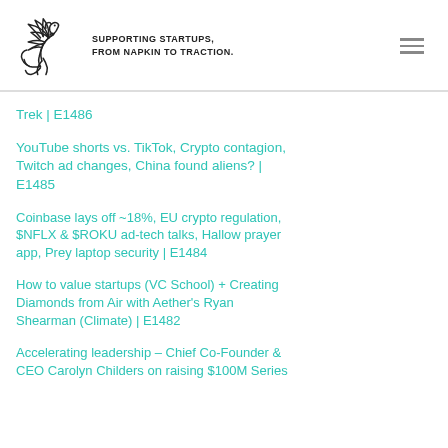SUPPORTING STARTUPS, FROM NAPKIN TO TRACTION.
Trek | E1486
YouTube shorts vs. TikTok, Crypto contagion, Twitch ad changes, China found aliens? | E1485
Coinbase lays off ~18%, EU crypto regulation, $NFLX & $ROKU ad-tech talks, Hallow prayer app, Prey laptop security | E1484
How to value startups (VC School) + Creating Diamonds from Air with Aether's Ryan Shearman (Climate) | E1482
Accelerating leadership – Chief Co-Founder & CEO Carolyn Childers on raising $100M Series